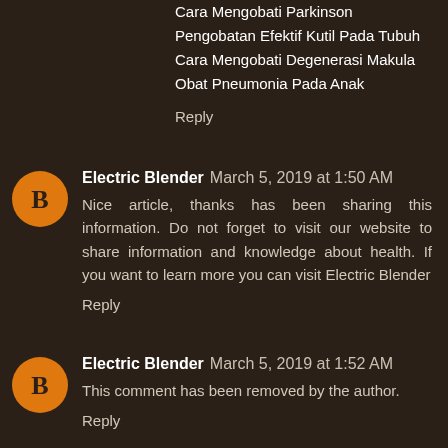Cara Mengobati Parkinson
Pengobatan Efektif Kutil Pada Tubuh
Cara Mengobati Degenerasi Makula
Obat Pneumonia Pada Anak
Reply
Electric Blender  March 5, 2019 at 1:50 AM
Nice article, thanks has been sharing this information. Do not forget to visit our website to share information and knowledge about health. If you want to learn more you can visit Electric Blender
Reply
Electric Blender  March 5, 2019 at 1:52 AM
This comment has been removed by the author.
Reply
Electric Blender  March 5, 2019 at 1:53 AM